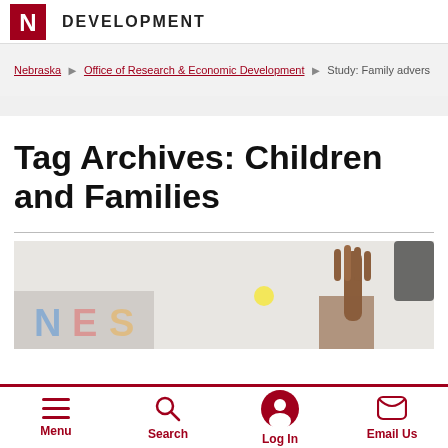DEVELOPMENT
Nebraska > Office of Research & Economic Development > Study: Family advers
Tag Archives: Children and Families
[Figure (photo): Classroom photo showing children raising their hands, with colorful letters visible in the background]
Menu | Search | Log In | Email Us